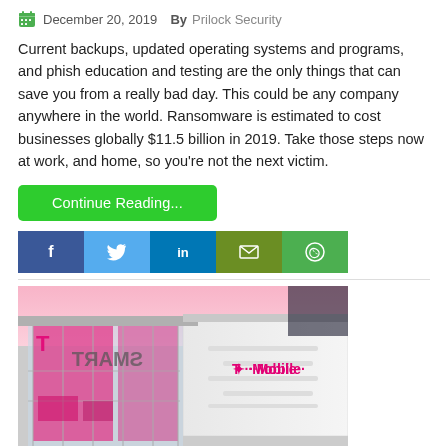December 20, 2019  By  Prilock Security
Current backups, updated operating systems and programs, and phish education and testing are the only things that can save you from a really bad day. This could be any company anywhere in the world. Ransomware is estimated to cost businesses globally $11.5 billion in 2019. Take those steps now at work, and home, so you're not the next victim.
Continue Reading...
[Figure (screenshot): Social media sharing buttons: Facebook (blue), Twitter (light blue), LinkedIn (dark blue), Email (olive green), WhatsApp (green)]
[Figure (photo): T-Mobile retail store exterior with pink and magenta lighting, glass facade, and T-Mobile logo signage on white wall]